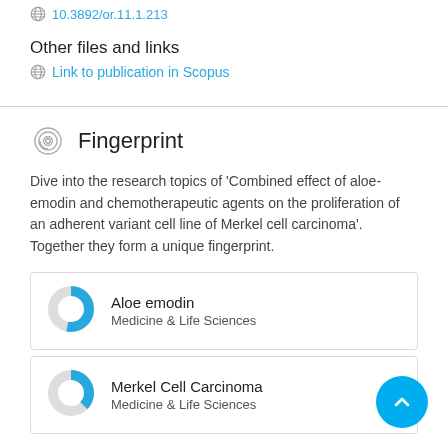10.3892/or.11.1.213
Other files and links
Link to publication in Scopus
Fingerprint
Dive into the research topics of 'Combined effect of aloe-emodin and chemotherapeutic agents on the proliferation of an adherent variant cell line of Merkel cell carcinoma'. Together they form a unique fingerprint.
Aloe emodin
Medicine & Life Sciences
Merkel Cell Carcinoma
Medicine & Life Sciences